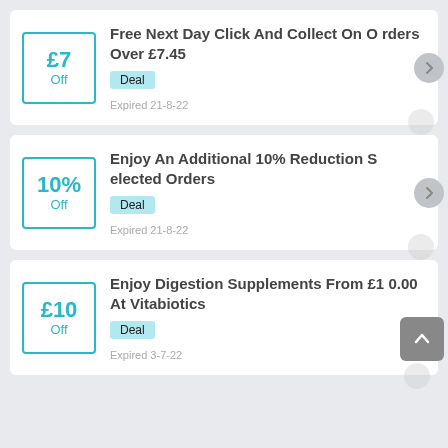£7 Off — Free Next Day Click And Collect On Orders Over £7.45 — Deal — Expired 21-8-22
10% Off — Enjoy An Additional 10% Reduction Selected Orders — Deal — Expired 21-8-22
£10 Off — Enjoy Digestion Supplements From £10.00 At Vitabiotics — Deal — Expired 3-7-22